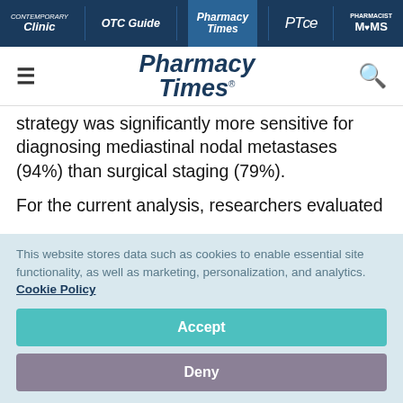Contemporary Clinic | OTC Guide | Pharmacy Times | PTce | Pharmacist MOMS
[Figure (logo): Pharmacy Times logo with hamburger menu and search icon]
strategy was significantly more sensitive for diagnosing mediastinal nodal metastases (94%) than surgical staging (79%).
For the current analysis, researchers evaluated
This website stores data such as cookies to enable essential site functionality, as well as marketing, personalization, and analytics. Cookie Policy
Accept
Deny